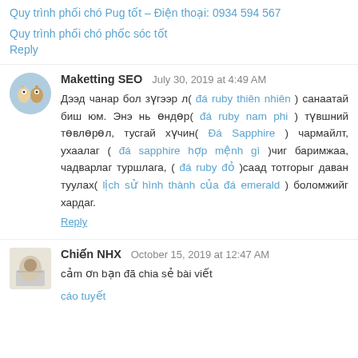Quy trình phối chó Pug tốt – Điện thoại: 0934 594 567
Quy trình phối chó phốc sóc tốt
Reply
Maketting SEO   July 30, 2019 at 4:49 AM
Дээд чанар бол зүгээр л( đá ruby thiên nhiên ) санаатай биш юм. Энэ нь өндөр( đá ruby nam phi ) түвшний төвлөрөл, тусгай хүчин( Đá Sapphire ) чармайлт, ухаалаг ( đá sapphire hợp mệnh gì )чиг баримжаа, чадварлаг туршлага, ( đá ruby đỏ )саад тотгорыг даван туулах( lịch sử hình thành của đá emerald ) боломжийг хардаг.
Reply
Chiến NHX   October 15, 2019 at 12:47 AM
cảm ơn bạn đã chia sẻ bài viết
cáo tuyết